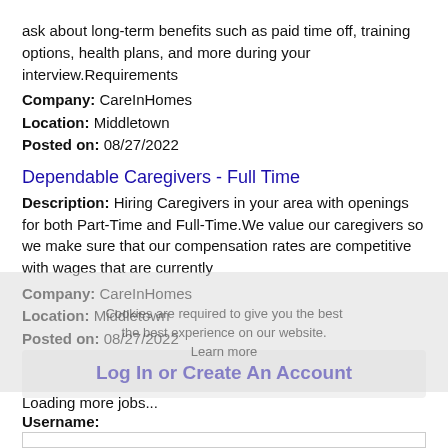ask about long-term benefits such as paid time off, training options, health plans, and more during your interview.Requirements
Company: CareInHomes
Location: Middletown
Posted on: 08/27/2022
Dependable Caregivers - Full Time
Description: Hiring Caregivers in your area with openings for both Part-Time and Full-Time.We value our caregivers so we make sure that our compensation rates are competitive with wages that are currently
Company: CareInHomes
Location: Middletown
Posted on: 08/27/2022
Loading more jobs...
Log In or Create An Account
Username: